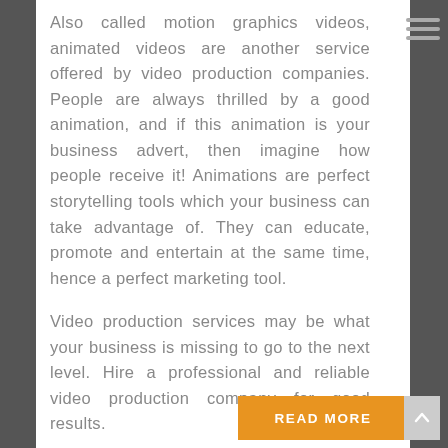Also called motion graphics videos, animated videos are another service offered by video production companies. People are always thrilled by a good animation, and if this animation is your business advert, then imagine how people receive it! Animations are perfect storytelling tools which your business can take advantage of. They can educate, promote and entertain at the same time, hence a perfect marketing tool.
Video production services may be what your business is missing to go to the next level. Hire a professional and reliable video production company for good results.